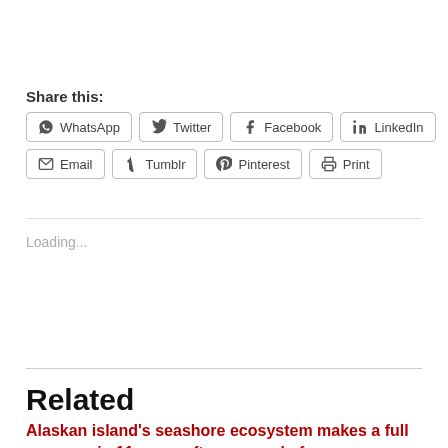Share this:
WhatsApp
Twitter
Facebook
LinkedIn
Email
Tumblr
Pinterest
Print
Loading...
Related
Alaskan island's seashore ecosystem makes a full recovery in 11 years after removal of